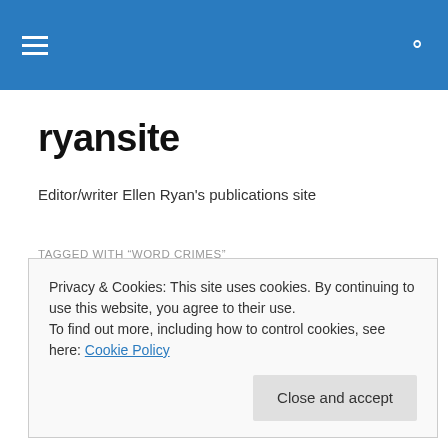ryansite navigation bar
ryansite
Editor/writer Ellen Ryan's publications site
TAGGED WITH “WORD CRIMES”
Word crimes and the grammar police
Privacy & Cookies: This site uses cookies. By continuing to use this website, you agree to their use.
To find out more, including how to control cookies, see here: Cookie Policy